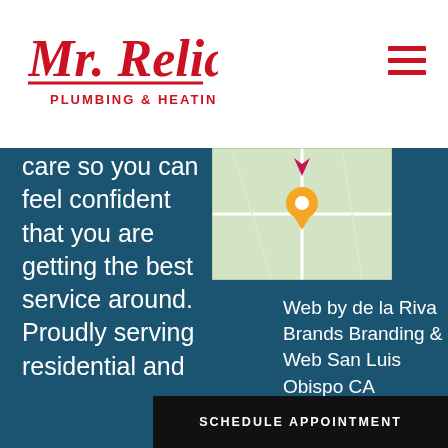[Figure (logo): Mr. Reliable Plumbing & Heating logo in red script font with red sans-serif text underneath]
[Figure (infographic): Hamburger menu icon (three red horizontal bars) in top right of header]
[Figure (map): Partial map thumbnail showing a location pin]
care so you can feel confident that you are getting the best service around. Proudly serving residential and
Web by de la Riva Brands Branding & Web San Luis Obispo CA
SCHEDULE APPOINTMENT